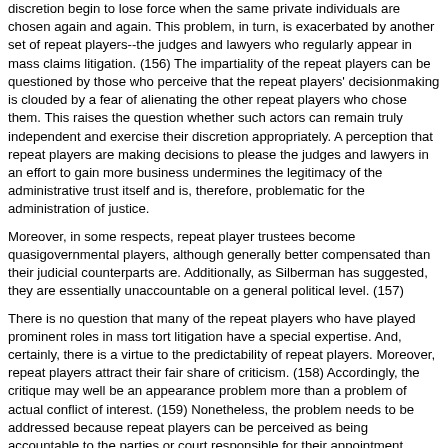discretion begin to lose force when the same private individuals are chosen again and again. This problem, in turn, is exacerbated by another set of repeat players--the judges and lawyers who regularly appear in mass claims litigation. (156) The impartiality of the repeat players can be questioned by those who perceive that the repeat players' decisionmaking is clouded by a fear of alienating the other repeat players who chose them. This raises the question whether such actors can remain truly independent and exercise their discretion appropriately. A perception that repeat players are making decisions to please the judges and lawyers in an effort to gain more business undermines the legitimacy of the administrative trust itself and is, therefore, problematic for the administration of justice.
Moreover, in some respects, repeat player trustees become quasigovernmental players, although generally better compensated than their judicial counterparts are. Additionally, as Silberman has suggested, they are essentially unaccountable on a general political level. (157)
There is no question that many of the repeat players who have played prominent roles in mass tort litigation have a special expertise. And, certainly, there is a virtue to the predictability of repeat players. Moreover, repeat players attract their fair share of criticism. (158) Accordingly, the critique may well be an appearance problem more than a problem of actual conflict of interest. (159) Nonetheless, the problem needs to be addressed because repeat players can be perceived as being accountable to the parties or court responsible for their appointment, rather than to the claimants.
C. Solving the Repeat Player Problem
This section explores two ways in which the repeat player problem can be